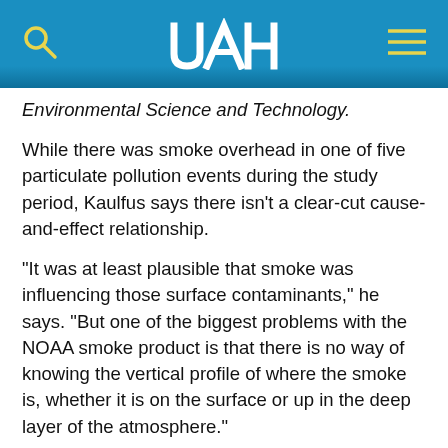UAH logo with search and menu icons
Environmental Science and Technology.
While there was smoke overhead in one of five particulate pollution events during the study period, Kaulfus says there isn't a clear-cut cause-and-effect relationship.
"It was at least plausible that smoke was influencing those surface contaminants," he says. "But one of the biggest problems with the NOAA smoke product is that there is no way of knowing the vertical profile of where the smoke is, whether it is on the surface or up in the deep layer of the atmosphere."
"What this really does is give us the upper limit of forest fire smoke's effects on these pollution events," adds Dr. Nair.